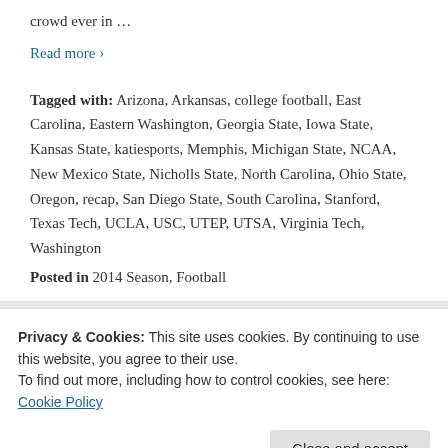crowd ever in …
Read more ›
Tagged with: Arizona, Arkansas, college football, East Carolina, Eastern Washington, Georgia State, Iowa State, Kansas State, katiesports, Memphis, Michigan State, NCAA, New Mexico State, Nicholls State, North Carolina, Ohio State, Oregon, recap, San Diego State, South Carolina, Stanford, Texas Tech, UCLA, USC, UTEP, UTSA, Virginia Tech, Washington
Posted in 2014 Season, Football
Privacy & Cookies: This site uses cookies. By continuing to use this website, you agree to their use.
To find out more, including how to control cookies, see here: Cookie Policy
Close and accept